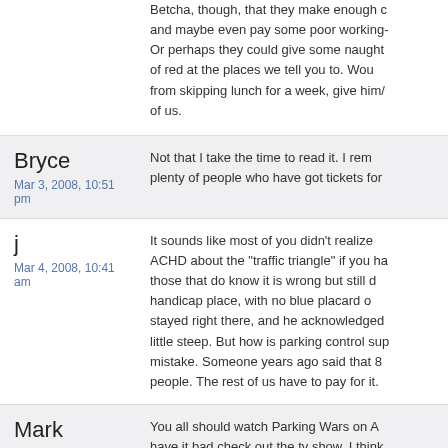Betcha, though, that they make enough c and maybe even pay some poor working- Or perhaps they could give some naught of red at the places we tell you to. Wou from skipping lunch for a week, give him/ of us.
Bryce
Mar 3, 2008, 10:51 pm

Not that I take the time to read it. I rem plenty of people who have got tickets for
j
Mar 4, 2008, 10:41 am

It sounds like most of you didn't realize ACHD about the "traffic triangle" if you ha those that do know it is wrong but still d handicap place, with no blue placard o stayed right there, and he acknowledged little steep. But how is parking control sup mistake. Someone years ago said that 8 people. The rest of us have to pay for it.
Mark
Mar 4, 2008, 12:30 pm

You all should watch Parking Wars on A have it bad check out the tv show. I think